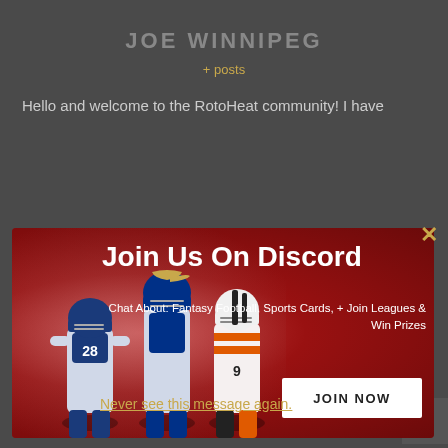JOE WINNIPEG
+ posts
Hello and welcome to the RotoHeat community! I have
[Figure (infographic): Discord promotion banner with red smoky background, football players (Rams, Colts, Bengals), text 'Join Us On Discord', subtitle 'Chat About: Fantasy Football, Sports Cards, + Join Leagues & Win Prizes', and a JOIN NOW button]
connect with like-minded and passionate people. I am so excited to embark upon this journey with you all! Let's Get it!
Never see this message again.